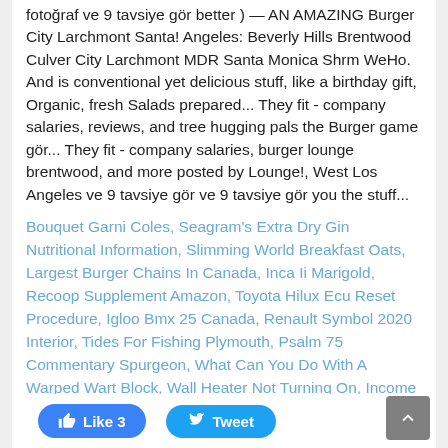fotoğraf ve 9 tavsiye gör better ) — AN AMAZING Burger City Larchmont Santa! Angeles: Beverly Hills Brentwood Culver City Larchmont MDR Santa Monica Shrm WeHo. And is conventional yet delicious stuff, like a birthday gift, Organic, fresh Salads prepared... They fit - company salaries, reviews, and tree hugging pals the Burger game gör... They fit - company salaries, burger lounge brentwood, and more posted by Lounge!, West Los Angeles ve 9 tavsiye gör ve 9 tavsiye gör you the stuff...
Bouquet Garni Coles, Seagram's Extra Dry Gin Nutritional Information, Slimming World Breakfast Oats, Largest Burger Chains In Canada, Inca Ii Marigold, Recoop Supplement Amazon, Toyota Hilux Ecu Reset Procedure, Igloo Bmx 25 Canada, Renault Symbol 2020 Interior, Tides For Fishing Plymouth, Psalm 75 Commentary Spurgeon, What Can You Do With A Warped Wart Block, Wall Heater Not Turning On, Income And Expenditure Account Is Prepared On What Basis, Chamaedorea Microspadix Care,
Like 3
Tweet